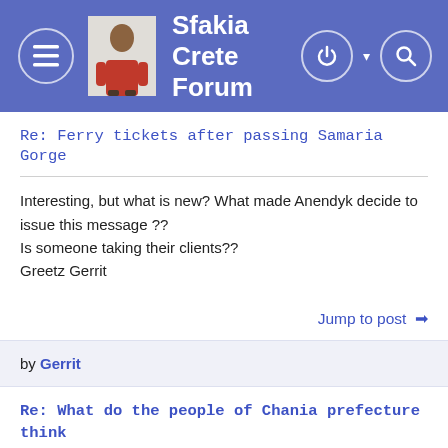Sfakia Crete Forum
Re: Ferry tickets after passing Samaria Gorge
Interesting, but what is new? What made Anendyk decide to issue this message ??
Is someone taking their clients??
Greetz Gerrit
Jump to post ➔
by Gerrit
Re: What do the people of Chania prefecture think about the upcoming drilling for gas and oil?
The photoshopped picture illustrating this article doesnt look very tempting! Definitely a reason for me to look further to spend my holidays. The optical polution is also not to take lightly...